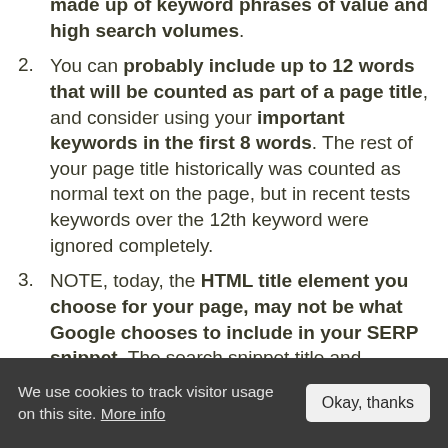made up of keyword phrases of value and high search volumes.
You can probably include up to 12 words that will be counted as part of a page title, and consider using your important keywords in the first 8 words. The rest of your page title historically was counted as normal text on the page, but in recent tests keywords over the 12th keyword were ignored completely.
NOTE, today, the HTML title element you choose for your page, may not be what Google chooses to include in your SERP snippet. The search snippet title and description is very much QUERY & DEVICE dependent these days. Google often
We use cookies to track visitor usage on this site. More info  Okay, thanks